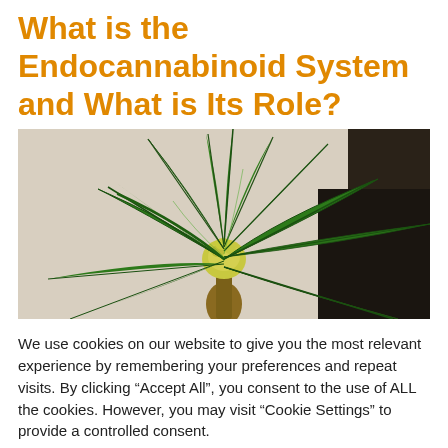What is the Endocannabinoid System and What is Its Role?
[Figure (photo): Close-up photograph of a cannabis plant with green leaves and a budding flower center, against a light background.]
We use cookies on our website to give you the most relevant experience by remembering your preferences and repeat visits. By clicking “Accept All”, you consent to the use of ALL the cookies. However, you may visit "Cookie Settings" to provide a controlled consent.